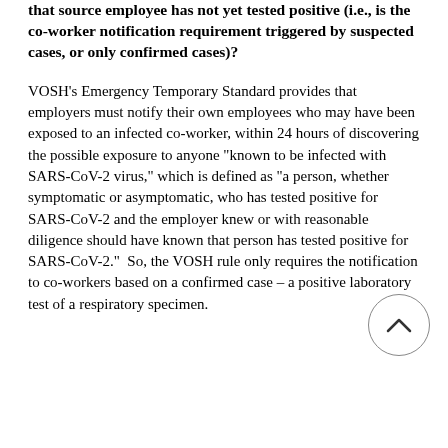that source employee has not yet tested positive (i.e., is the co-worker notification requirement triggered by suspected cases, or only confirmed cases)?
VOSH’s Emergency Temporary Standard provides that employers must notify their own employees who may have been exposed to an infected co-worker, within 24 hours of discovering the possible exposure to anyone “known to be infected with SARS-CoV-2 virus,” which is defined as “a person, whether symptomatic or asymptomatic, who has tested positive for SARS-CoV-2 and the employer knew or with reasonable diligence should have known that person has tested positive for SARS-CoV-2.”  So, the VOSH rule only requires the notification to co-workers based on a confirmed case – a positive laboratory test of a respiratory specimen.